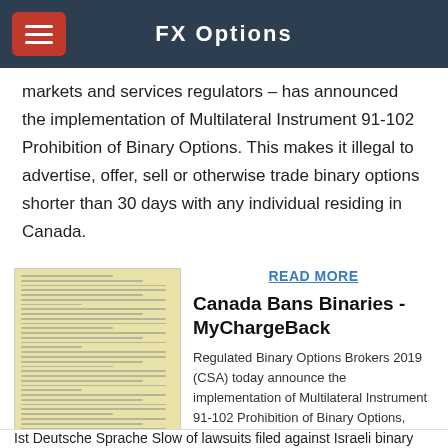FX Options
markets and services regulators – has announced the implementation of Multilateral Instrument 91-102 Prohibition of Binary Options. This makes it illegal to advertise, offer, sell or otherwise trade binary options shorter than 30 days with any individual residing in Canada.
[Figure (screenshot): Thumbnail screenshot of a document page with yellow background and small text, appearing to be a regulatory document about binary options.]
READ MORE
Canada Bans Binaries - MyChargeBack
Regulated Binary Options Brokers 2019 (CSA) today announce the implementation of Multilateral Instrument 91-102 Prohibition of Binary Options, which makes it illegal to ESMA extends binary options trading ban into 2019 Was
Ist Deutsche Sprache Slow of lawsuits filed against Israeli binary